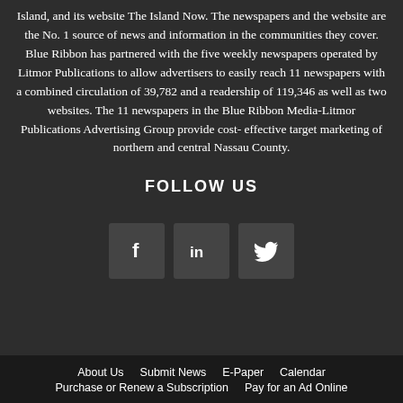Island, and its website The Island Now. The newspapers and the website are the No. 1 source of news and information in the communities they cover. Blue Ribbon has partnered with the five weekly newspapers operated by Litmor Publications to allow advertisers to easily reach 11 newspapers with a combined circulation of 39,782 and a readership of 119,346 as well as two websites. The 11 newspapers in the Blue Ribbon Media-Litmor Publications Advertising Group provide cost-effective target marketing of northern and central Nassau County.
FOLLOW US
[Figure (infographic): Three social media icon buttons: Facebook (f), LinkedIn (in), Twitter (bird icon), displayed as square dark gray buttons]
About Us   Submit News   E-Paper   Calendar   Purchase or Renew a Subscription   Pay for an Ad Online